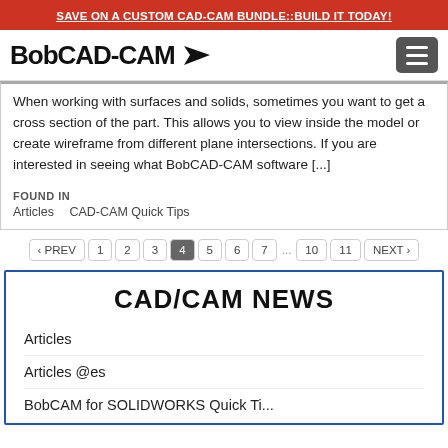SAVE ON A CUSTOM CAD-CAM BUNDLE::BUILD IT TODAY!
[Figure (logo): BobCAD-CAM logo with arrow icon and hamburger menu button]
When working with surfaces and solids, sometimes you want to get a cross section of the part. This allows you to view inside the model or create wireframe from different plane intersections. If you are interested in seeing what BobCAD-CAM software [...]
FOUND IN
Articles   CAD-CAM Quick Tips
‹ PREV  1  2  3  4  5  6  7  ...  10  11  NEXT ›
CAD/CAM NEWS
Articles
Articles @es
BobCAM for SOLIDWORKS Quick Ti...